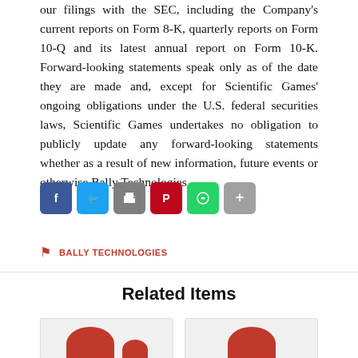our filings with the SEC, including the Company's current reports on Form 8-K, quarterly reports on Form 10-Q and its latest annual report on Form 10-K. Forward-looking statements speak only as of the date they are made and, except for Scientific Games' ongoing obligations under the U.S. federal securities laws, Scientific Games undertakes no obligation to publicly update any forward-looking statements whether as a result of new information, future events or otherwise.Bally Technologies
[Figure (other): Social sharing icon bar with Facebook (blue), Twitter (light blue), Print/Share (gray), Pinterest (red), WhatsApp (green), and More (gray with plus) buttons]
BALLY TECHNOLOGIES
Related Items
[Figure (photo): Two related item card thumbnails with red circular logo elements partially visible at the bottom]